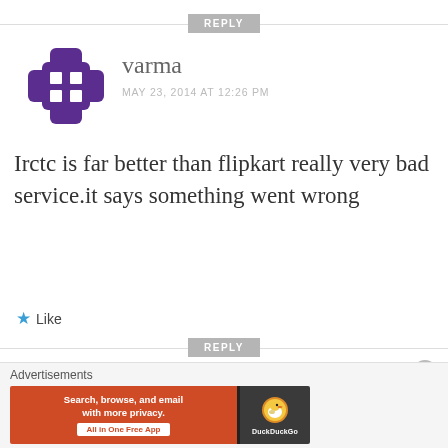[Figure (other): REPLY button with horizontal divider lines on both sides]
[Figure (illustration): Purple cross/plus shaped avatar icon with white square cutouts]
varma
MAY 23, 2014 AT 12:26 PM
Irctc is far better than flipkart really very bad service.it says something went wrong
★ Like
[Figure (other): REPLY button with horizontal divider lines on both sides]
[Figure (other): Close/X circle button]
Advertisements
[Figure (other): DuckDuckGo advertisement banner: Search, browse, and email with more privacy. All in One Free App. DuckDuckGo logo on right.]